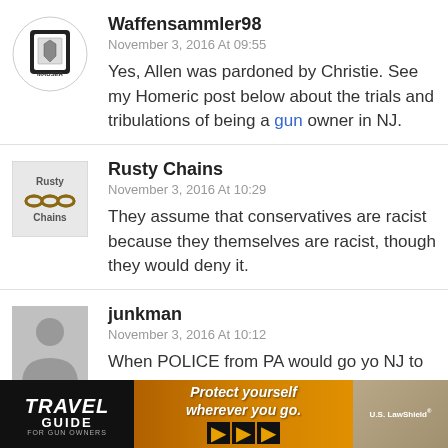[Figure (logo): Mauser logo avatar for user Waffensammler98]
Waffensammler98
November 3, 2016 At 09:55
Yes, Allen was pardoned by Christie. See my Homeric post below about the trials and tribulations of being a gun owner in NJ.
[Figure (logo): Rusty Chains avatar image]
Rusty Chains
November 3, 2016 At 10:29
They assume that conservatives are racist because they themselves are racist, though they would deny it.
[Figure (illustration): Default user avatar placeholder (grey silhouette) for junkman]
junkman
November 3, 2016 At 10:12
When POLICE from PA would go yo NJ to
[Figure (photo): Travel Guide For Gun Owners advertisement banner: Protect yourself wherever you go. U.S. LawShield]